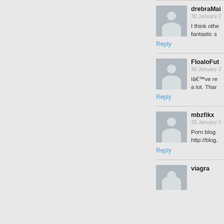drebraMai | 30 January 2 | Reply | I think othe fantastic s
FloaloFut | 30 January 2 | Reply | Iâ€™ve re a lot. Than
mbzfikx | 30 January 2 | Reply | Porn blog http://blog.
viagra